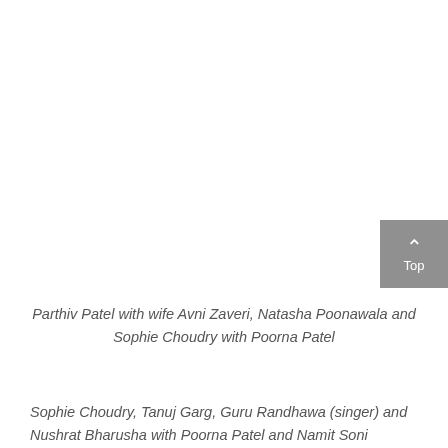Parthiv Patel with wife Avni Zaveri, Natasha Poonawala and Sophie Choudry with Poorna Patel
Sophie Choudry, Tanuj Garg, Guru Randhawa (singer) and Nushrat Bharusha with Poorna Patel and Namit Soni